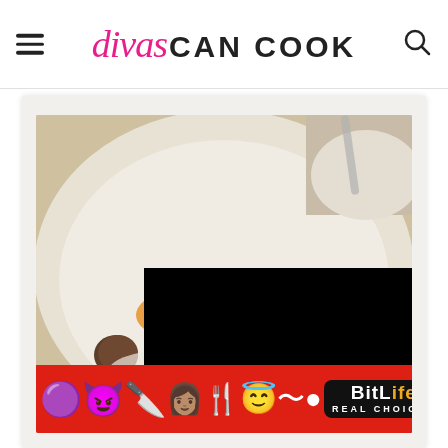divas CAN COOK
[Figure (photo): A white bowl of creamy soup topped with shredded cheese, green bell pepper chunks, sausage crumbles, and other toppings, with a spoon visible in the background. A black video overlay covers the lower-right portion of the image. A BitLife advertisement banner appears at the bottom.]